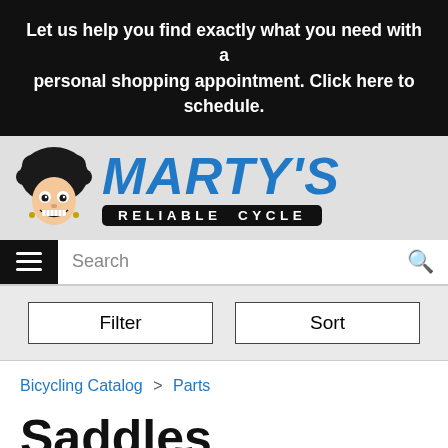Let us help you find exactly what you need with a personal shopping appointment. Click here to schedule.
[Figure (logo): Marty's Reliable Cycle logo with cartoon mascot face with afro, and blue italic MARTY'S text above a black pill with RELIABLE CYCLE in white letters]
Search
Filter
Sort
Bicycling Catalog > Parts
Saddles